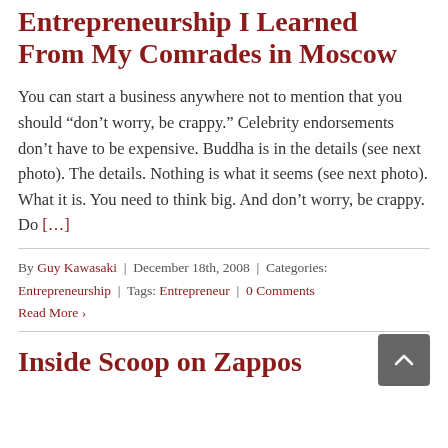Entrepreneurship I Learned From My Comrades in Moscow
You can start a business anywhere not to mention that you should “don’t worry, be crappy.” Celebrity endorsements don’t have to be expensive. Buddha is in the details (see next photo). The details. Nothing is what it seems (see next photo). What it is. You need to think big. And don’t worry, be crappy. Do […]
By Guy Kawasaki | December 18th, 2008 | Categories: Entrepreneurship | Tags: Entrepreneur | 0 Comments
Read More ›
Inside Scoop on Zappos